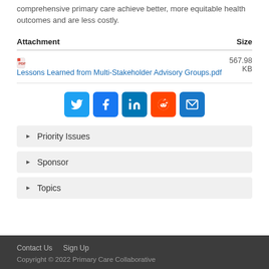comprehensive primary care achieve better, more equitable health outcomes and are less costly.
| Attachment | Size |
| --- | --- |
| Lessons Learned from Multi-Stakeholder Advisory Groups.pdf | 567.98 KB |
[Figure (other): Social share buttons: Twitter, Facebook, LinkedIn, Reddit, Email]
Priority Issues
Sponsor
Topics
Contact Us   Sign Up
Copyright © 2022 Primary Care Collaborative